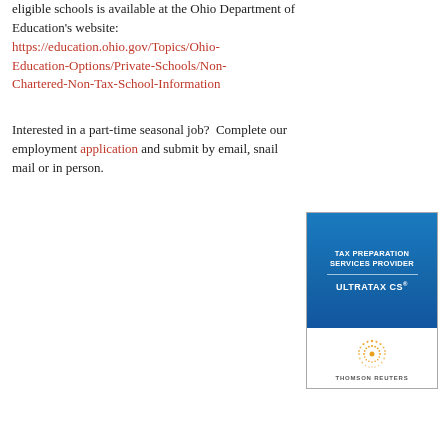eligible schools is available at the Ohio Department of Education's website: https://education.ohio.gov/Topics/Ohio-Education-Options/Private-Schools/Non-Chartered-Non-Tax-School-Information
Interested in a part-time seasonal job?  Complete our employment application and submit by email, snail mail or in person.
[Figure (logo): Thomson Reuters advertisement box showing 'TAX PREPARATION SERVICES PROVIDER' and 'ULTRATAX CS®' text on blue background, with Thomson Reuters sunburst logo and company name on white background below.]